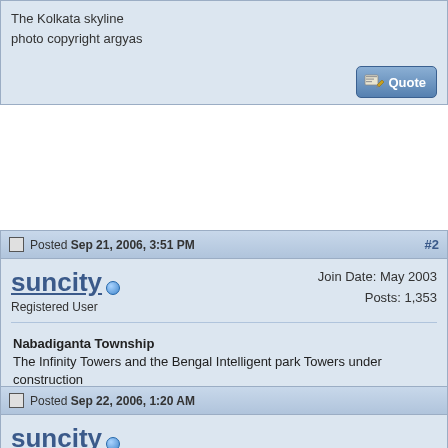The Kolkata skyline
photo copyright argyas
Posted Sep 21, 2006, 3:51 PM  #2
suncity
Registered User
Join Date: May 2003
Posts: 1,353
Nabadiganta Township
The Infinity Towers and the Bengal Intelligent park Towers under construction
photo copyright vikashsaraswat
Posted Sep 22, 2006, 1:20 AM
suncity
Registered User
Chowringhee